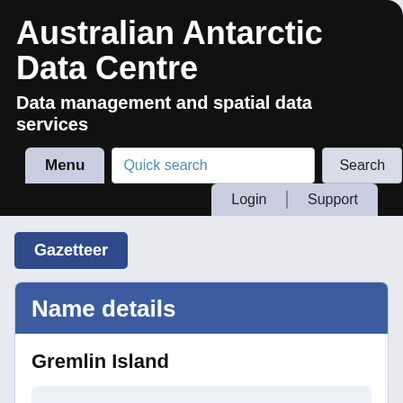Australian Antarctic Data Centre
Data management and spatial data services
Gazetteer
Name details
Gremlin Island
Gremlin Island (The name as it would appear in a gazetteer)